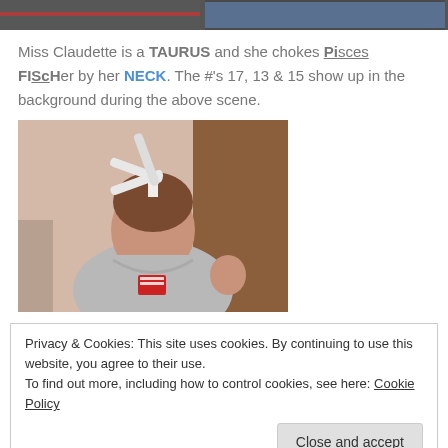[Figure (screenshot): Top portion of a video or image strip showing dark screenshots]
Miss Claudette is a TAURUS and she chokes Pisces FIScHer by her NECK. The #'s 17, 13 & 15 show up in the background during the above scene.
[Figure (photo): A woman wearing a gray hoodie and a headpiece with white propeller blades, looking downward, with a name badge on her chest.]
Privacy & Cookies: This site uses cookies. By continuing to use this website, you agree to their use. To find out more, including how to control cookies, see here: Cookie Policy
[Figure (screenshot): Bottom strip of images partially visible]